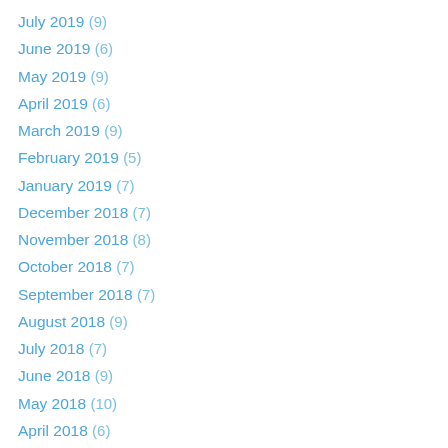July 2019 (9)
June 2019 (6)
May 2019 (9)
April 2019 (6)
March 2019 (9)
February 2019 (5)
January 2019 (7)
December 2018 (7)
November 2018 (8)
October 2018 (7)
September 2018 (7)
August 2018 (9)
July 2018 (7)
June 2018 (9)
May 2018 (10)
April 2018 (6)
March 2018 (10)
February 2018 (8)
January 2018 (9)
December 2017 (6)